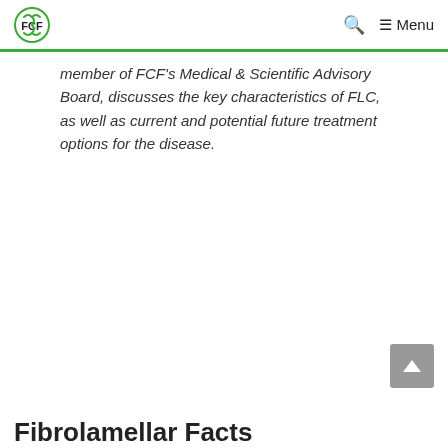FCF logo | Q Search | ≡ Menu
member of FCF's Medical & Scientific Advisory Board, discusses the key characteristics of FLC, as well as current and potential future treatment options for the disease.
[Figure (other): Scroll to top button (grey chevron/arrow up)]
Fibrolamellar Facts